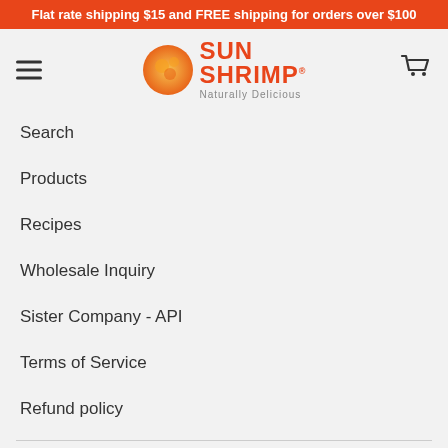Flat rate shipping $15 and FREE shipping for orders over $100
[Figure (logo): Sun Shrimp logo with orange swirl circle and text 'SUN SHRIMP Naturally Delicious']
Search
Products
Recipes
Wholesale Inquiry
Sister Company - API
Terms of Service
Refund policy
Policies
Privacy Policy
Refund Policy
Shipping Policy